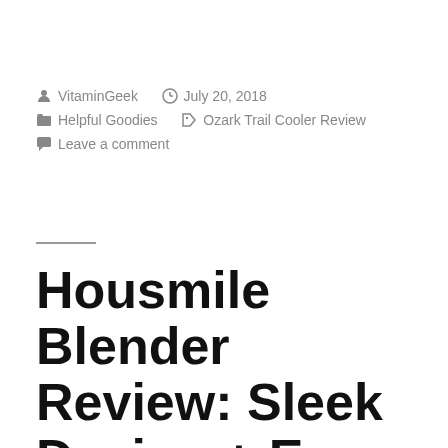VitaminGeek  July 20, 2018  Helpful Goodies  Ozark Trail Cooler Review  Leave a comment
Housmile Blender Review: Sleek Design + Easy to Use Blender